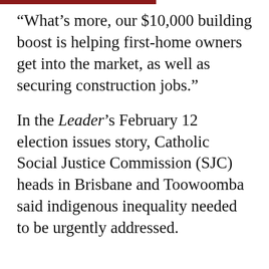“What’s more, our $10,000 building boost is helping first-home owners get into the market, as well as securing construction jobs.”
In the Leader’s February 12 election issues story, Catholic Social Justice Commission (SJC) heads in Brisbane and Toowoomba said indigenous inequality needed to be urgently addressed.
This website stores cookies on your computer. These cookies are used to improve your website experience and provide more personalized services to you, both on this website and through other media. To find out more about the cookies we use, see our Privacy Policy.

If you decline, your information won’t be tracked when you visit this website. A single cookie will be used in your browser to remember your preference not to be tracked.